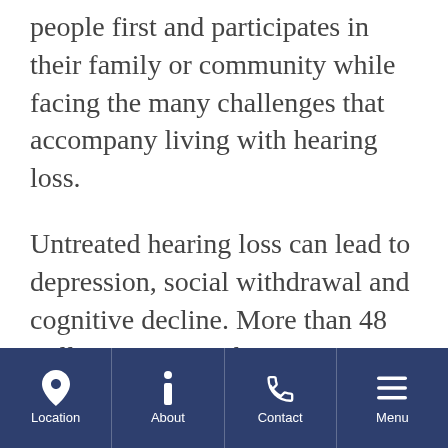people first and participates in their family or community while facing the many challenges that accompany living with hearing loss.
Untreated hearing loss can lead to depression, social withdrawal and cognitive decline. More than 48 million American have some degree of hearing loss and the longer it is left untreated, the higher the risk of experiencing social, cognitive and physical health problems.
Location | About | Contact | Menu